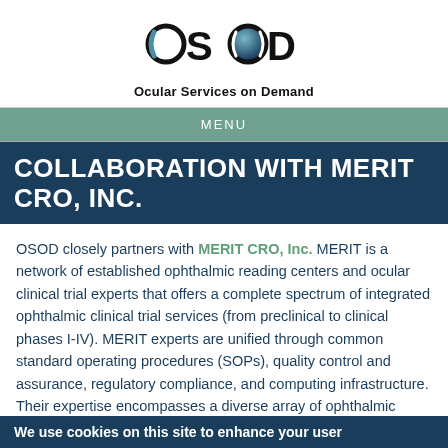[Figure (logo): OSOD logo with circular eye graphic and text 'Ocular Services on Demand']
MENU
COLLABORATION WITH MERIT CRO, INC.
OSOD closely partners with MERIT CRO, Inc. MERIT is a network of established ophthalmic reading centers and ocular clinical trial experts that offers a complete spectrum of integrated ophthalmic clinical trial services (from preclinical to clinical phases I-IV). MERIT experts are unified through common standard operating procedures (SOPs), quality control and assurance, regulatory compliance, and computing infrastructure. Their expertise encompasses a diverse array of ophthalmic testing methods including fundus photography and angiography, optical coherence
We use cookies on this site to enhance your user